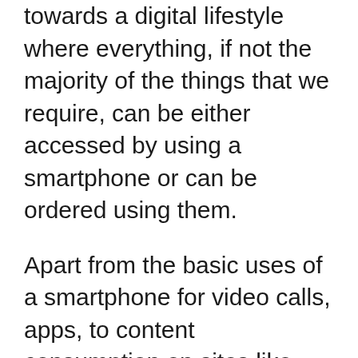towards a digital lifestyle where everything, if not the majority of the things that we require, can be either accessed by using a smartphone or can be ordered using them.
Apart from the basic uses of a smartphone for video calls, apps, to content consumption on sites like YouTube, Netflix, Hotstar, etc.
There are other uses of smartphones that have risen over the past couple of years like professional video & photography, content creation for social media sites, mobile gaming, online classes for school & college students, and many more.